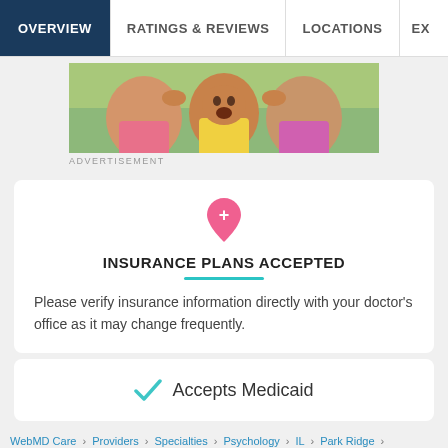OVERVIEW | RATINGS & REVIEWS | LOCATIONS | EX...
[Figure (photo): Advertisement photo showing three children playing outdoors, making funny faces]
ADVERTISEMENT
INSURANCE PLANS ACCEPTED
Please verify insurance information directly with your doctor's office as it may change frequently.
✓ Accepts Medicaid
WebMD Care > Providers > Specialties > Psychology > IL > Park Ridge >